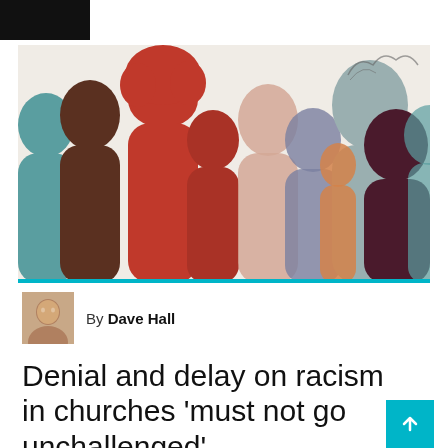[Figure (illustration): Illustration of overlapping silhouettes of diverse people profiles in various colors including red, teal, dark brown, grey, peach, and purple on a light background.]
By Dave Hall
Denial and delay on racism in churches ‘must not go unchallenged’